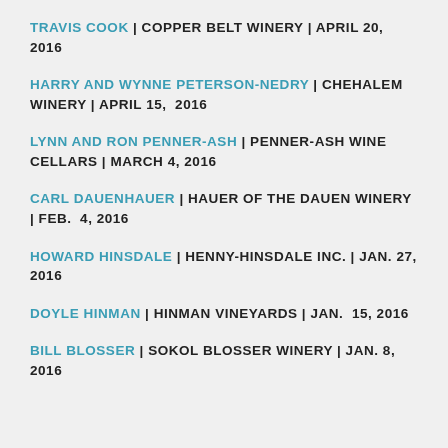TRAVIS COOK | COPPER BELT WINERY | APRIL 20, 2016
HARRY AND WYNNE PETERSON-NEDRY | CHEHALEM WINERY | APRIL 15, 2016
LYNN AND RON PENNER-ASH | PENNER-ASH WINE CELLARS | MARCH 4, 2016
CARL DAUENHAUER | HAUER OF THE DAUEN WINERY | FEB. 4, 2016
HOWARD HINSDALE | HENNY-HINSDALE INC. | JAN. 27, 2016
DOYLE HINMAN | HINMAN VINEYARDS | JAN. 15, 2016
BILL BLOSSER | SOKOL BLOSSER WINERY | JAN. 8, 2016